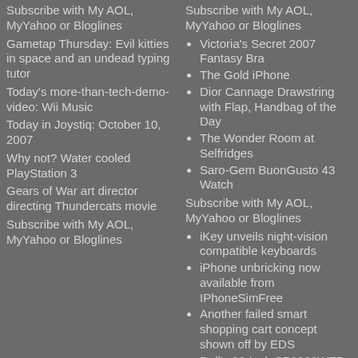Subscribe with My AOL, MyYahoo or Bloglines
Subscribe with My AOL, MyYahoo or Bloglines
Gametap Thursday: Evil kitties in space and an undead typing tutor
Victoria's Secret 2007 Fantasy Bra
Today's more-than-tech-demo-video: Wii Music
The Gold iPhone
Today in Joystiq: October 10, 2007
Dior Cannage Drawstring with Flap, Handbag of the Day
Why not? Water cooled PlayStation 3
The Wonder Room at Selfridges
Gears of War art director directing Thundercats movie
Saro-Gem BuonGusto 43 Watch
Subscribe with My AOL, MyYahoo or Bloglines
Subscribe with My AOL, MyYahoo or Bloglines
iKey unveils night-vision compatible keyboards
iPhone unbricking now available from IPhoneSimFree
Another failed smart shopping cart concept shown off by EDS
Dell's 22-inch SP2208WFP